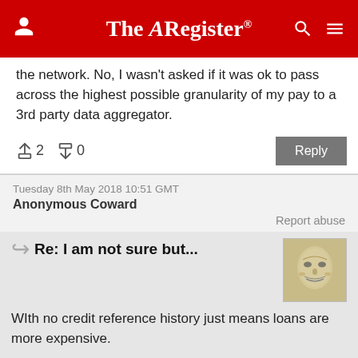The Register
the network. No, I wasn't asked if it was ok to pass across the highest possible granularity of my pay to a 3rd party data aggregator.
↑2  ↓0   Reply
Tuesday 8th May 2018 10:51 GMT
Anonymous Coward
Report abuse
Re: I am not sure but...
WIth no credit reference history just means loans are more expensive.
...And more limited in where you get them from (easy for bank your wages go into, outgoings leave from as they can see your financial state, more awkward anywhere else).
In our partnership all loans have been in my name...